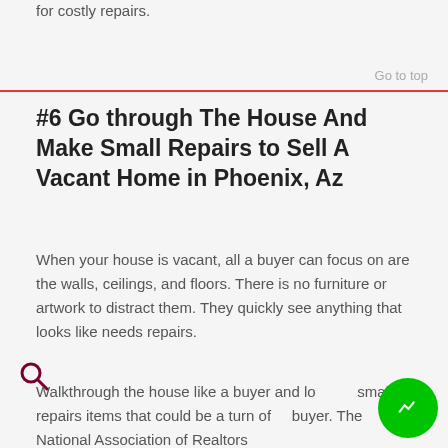for costly repairs.
Go to top
#6 Go through The House And Make Small Repairs to Sell A Vacant Home in Phoenix, Az
When your house is vacant, all a buyer can focus on are the walls, ceilings, and floors. There is no furniture or artwork to distract them. They quickly see anything that looks like needs repairs.
Walkthrough the house like a buyer and look for small repairs items that could be a turn off a buyer. The National Association of Realtors